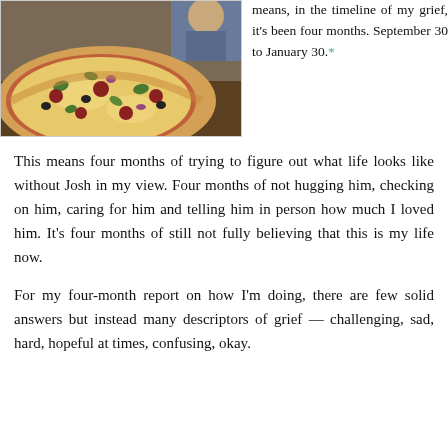[Figure (photo): Photo of a large pizza topped with vegetables, pepperoni, and cheese, with a person visible in the background at a restaurant.]
means, in the timeline of my grief, it's been four months. September 30 to January 30.*
This means four months of trying to figure out what life looks like without Josh in my view. Four months of not hugging him, checking on him, caring for him and telling him in person how much I loved him. It's four months of still not fully believing that this is my life now.
For my four-month report on how I'm doing, there are few solid answers but instead many descriptors of grief — challenging, sad, hard, hopeful at times, confusing, okay.